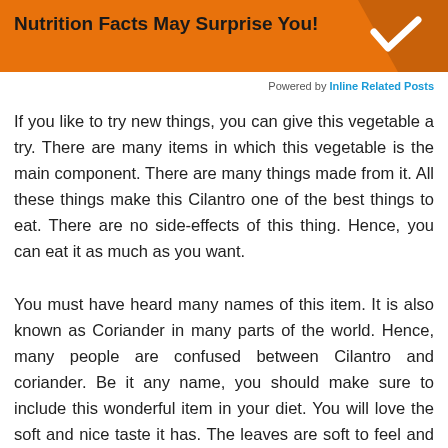[Figure (infographic): Orange banner with bold black text 'Nutrition Facts May Surprise You!' and a darker orange triangular section on the right with a white checkmark icon]
Powered by Inline Related Posts
If you like to try new things, you can give this vegetable a try. There are many items in which this vegetable is the main component. There are many things made from it. All these things make this Cilantro one of the best things to eat. There are no side-effects of this thing. Hence, you can eat it as much as you want.
You must have heard many names of this item. It is also known as Coriander in many parts of the world. Hence, many people are confused between Cilantro and coriander. Be it any name, you should make sure to include this wonderful item in your diet. You will love the soft and nice taste it has. The leaves are soft to feel and give a nice color to the entire dish. If you like to experiment